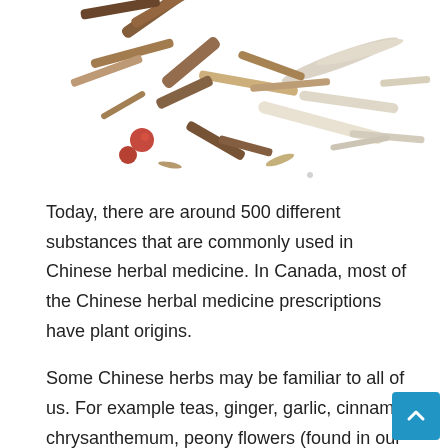[Figure (photo): Overhead photo of various dried Chinese herbal medicine ingredients — roots, bark pieces, dried berries (red), and other plant materials scattered on a white background]
Today, there are around 500 different substances that are commonly used in Chinese herbal medicine. In Canada, most of the Chinese herbal medicine prescriptions have plant origins.
Some Chinese herbs may be familiar to all of us. For example teas, ginger, garlic, cinnamon, chrysanthemum, peony flowers (found in our gardens). But most of the substances used in Chinese herbalism are not generally familiar to the public, for example, Chai Hu (bupleurum), Huang (Rehmannia) and Huang Qi (Astragalus). In this